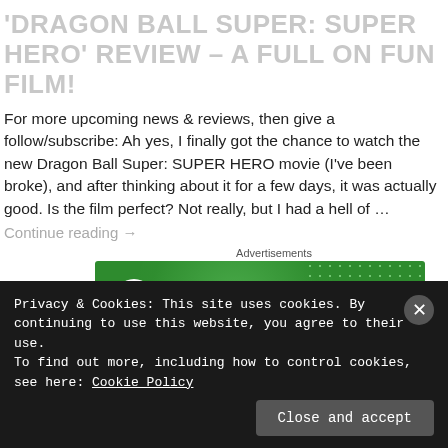'DRAGON BALL SUPER: SUPER HERO' REVIEW – A FULL ON FUN FILM!
For more upcoming news & reviews, then give a follow/subscribe: Ah yes, I finally got the chance to watch the new Dragon Ball Super: SUPER HERO movie (I've been broke), and after thinking about it for a few days, it was actually good. Is the film perfect? Not really, but I had a hell of …
Continue reading →
Advertisements
[Figure (logo): Jetpack advertisement banner with green background and Jetpack logo]
Privacy & Cookies: This site uses cookies. By continuing to use this website, you agree to their use.
To find out more, including how to control cookies, see here: Cookie Policy